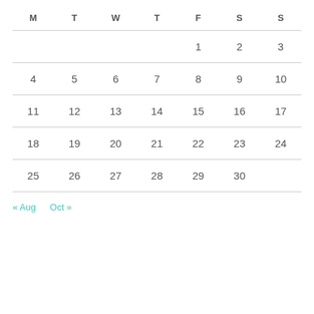| M | T | W | T | F | S | S |
| --- | --- | --- | --- | --- | --- | --- |
|  |  |  |  | 1 | 2 | 3 |
| 4 | 5 | 6 | 7 | 8 | 9 | 10 |
| 11 | 12 | 13 | 14 | 15 | 16 | 17 |
| 18 | 19 | 20 | 21 | 22 | 23 | 24 |
| 25 | 26 | 27 | 28 | 29 | 30 |  |
« Aug   Oct »